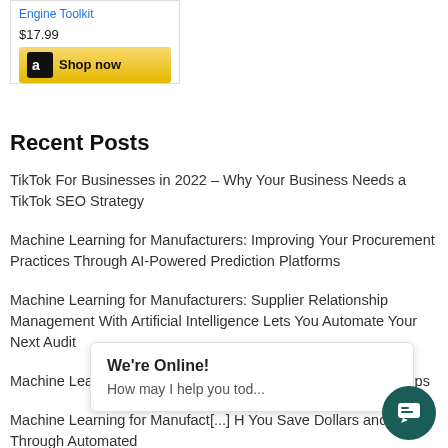[Figure (other): Amazon product card showing 'Engine Toolkit' priced at $17.99 with a 'Shop now' button featuring the Amazon logo on a gold background]
Recent Posts
TikTok For Businesses in 2022 – Why Your Business Needs a TikTok SEO Strategy
Machine Learning for Manufacturers: Improving Your Procurement Practices Through AI-Powered Prediction Platforms
Machine Learning for Manufacturers: Supplier Relationship Management With Artificial Intelligence Lets You Automate Your Next Audit
Machine Learning for Manufacturers: AI Anomaly Detection Helps [partially obscured] chain
Machine Learning [partially obscured] H[elps] You Save Dollars and Cents Through Automated
[Figure (other): Live chat widget overlay showing 'We're Online!' and 'How may I help you tod...' with a dark teal chat button icon in the bottom right]